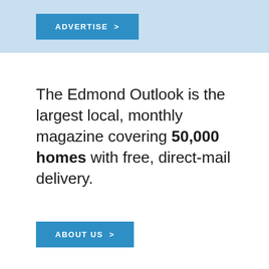[Figure (other): Blue banner with ADVERTISE > button]
The Edmond Outlook is the largest local, monthly magazine covering 50,000 homes with free, direct-mail delivery.
[Figure (other): Blue ABOUT US > button]